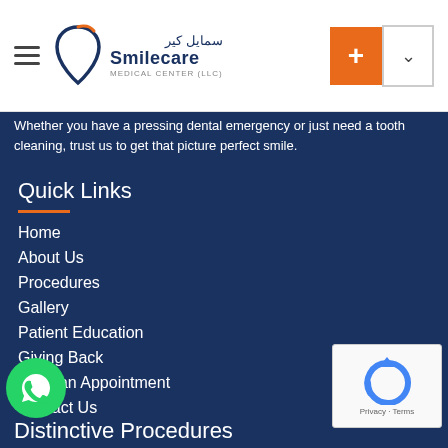Smilecare Medical Center (LLC) — navigation header with logo and menu
Whether you have a pressing dental emergency or just need a tooth cleaning, trust us to get that picture perfect smile.
Quick Links
Home
About Us
Procedures
Gallery
Patient Education
Giving Back
Book an Appointment
Contact Us
Distinctive Procedures